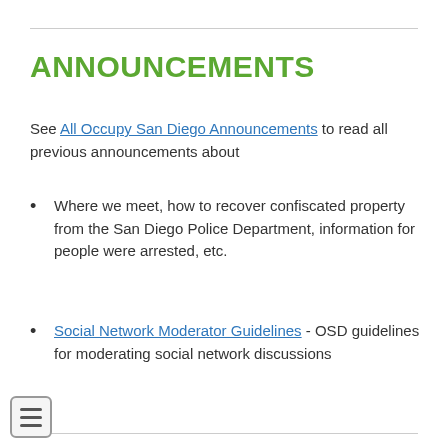ANNOUNCEMENTS
See All Occupy San Diego Announcements to read all previous announcements about
Where we meet, how to recover confiscated property from the San Diego Police Department, information for people were arrested, etc.
Social Network Moderator Guidelines - OSD guidelines for moderating social network discussions
LEGAL
Anyone with information about arrests... Please, we need to continue to compile a complete list.
IF YOU HAVE BEEN ARRESTED, DETAINED, OR CITED... Please complete the form here:
Occupy Legal Info Request and email to